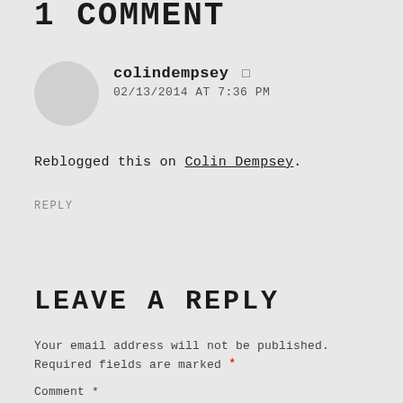1 COMMENT
colindempsey
02/13/2014 AT 7:36 PM
Reblogged this on Colin Dempsey.
REPLY
LEAVE A REPLY
Your email address will not be published. Required fields are marked *
Comment *